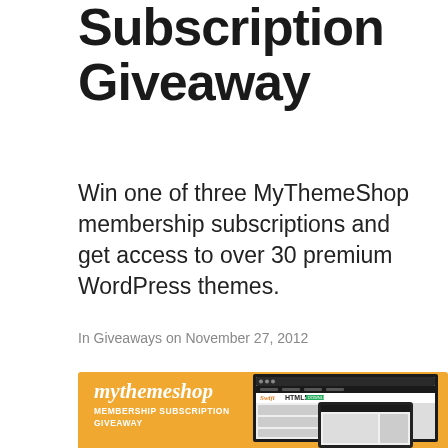Subscription Giveaway
Win one of three MyThemeShop membership subscriptions and get access to over 30 premium WordPress themes.
In Giveaways on November 27, 2012
[Figure (illustration): MyThemeShop Membership Subscription Giveaway promotional banner with orange background showing laptop and tablet mockups displaying WordPress themes]